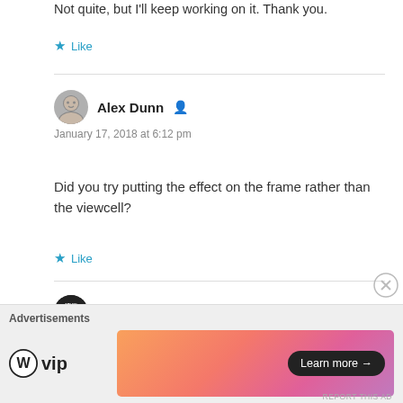Not quite, but I'll keep working on it. Thank you.
Like
Alex Dunn
January 17, 2018 at 6:12 pm
Did you try putting the effect on the frame rather than the viewcell?
Like
Ray
January 17, 2018 at 5:53 pm
Advertisements
[Figure (logo): WordPress VIP logo with WP circular icon and 'vip' text]
[Figure (illustration): Gradient advertisement banner with Learn more button]